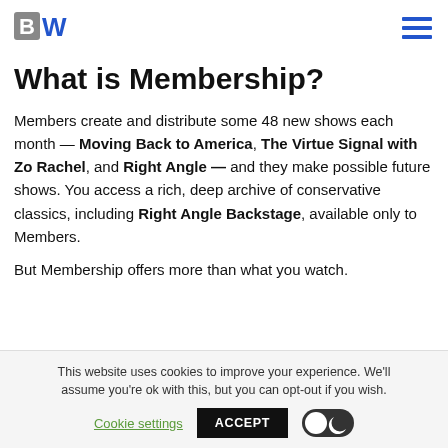BW logo and hamburger menu
What is Membership?
Members create and distribute some 48 new shows each month — Moving Back to America, The Virtue Signal with Zo Rachel, and Right Angle — and they make possible future shows. You access a rich, deep archive of conservative classics, including Right Angle Backstage, available only to Members.

But Membership offers more than what you watch.
This website uses cookies to improve your experience. We'll assume you're ok with this, but you can opt-out if you wish. Cookie settings ACCEPT